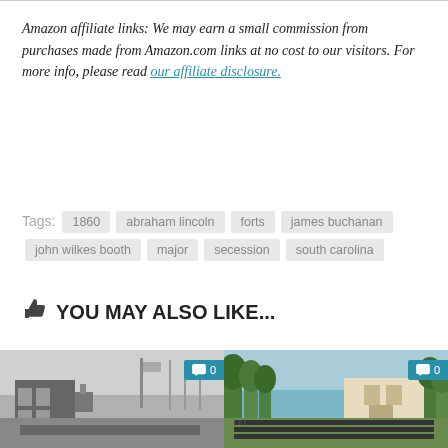Amazon affiliate links: We may earn a small commission from purchases made from Amazon.com links at no cost to our visitors. For more info, please read our affiliate disclosure.
Tags: 1860  abraham lincoln  forts  james buchanan  john wilkes booth  major  secession  south carolina
YOU MAY ALSO LIKE...
[Figure (photo): Black and white historical photo of a damaged or destroyed building with a flagpole, comment badge showing 0]
[Figure (illustration): Colorful historical illustration of military troops gathered on a field with trees and a building in the background, comment badge showing 0]